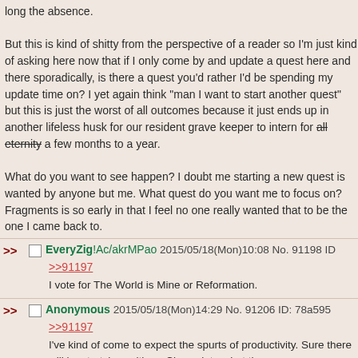long the absence.

But this is kind of shitty from the perspective of a reader so I'm just kind of asking here now that if I only come by and update a quest here and there sporadically, is there a quest you'd rather I'd be spending my update time on? I yet again think "man I want to start another quest" but this is just the worst of all outcomes because it just ends up in another lifeless husk for our resident grave keeper to intern for all eternity a few months to a year.

What do you want to see happen? I doubt me starting a new quest is wanted by anyone but me. What quest do you want me to focus on? Fragments is so early in that I feel no one really wanted that to be the one I came back to.
EveryZig!Ac/akrMPao 2015/05/18(Mon)10:08 No. 91198 ID
>>91197
I vote for The World is Mine or Reformation.
Anonymous 2015/05/18(Mon)14:29 No. 91206 ID: 78a595
>>91197
I've kind of come to expect the spurts of productivity. Sure there will be stretches with no Cirr updates, but then you g